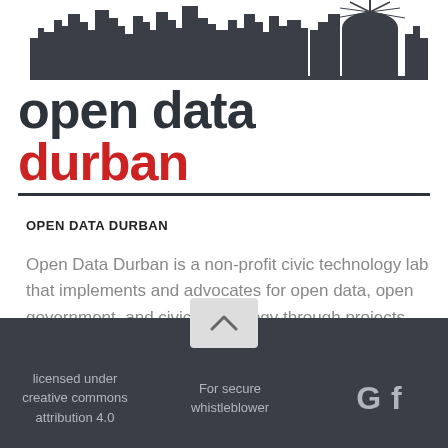[Figure (logo): Open Data Durban logo with city skyline silhouette above text 'open data durban' where 'durban' is in red, with a dark underline]
OPEN DATA DURBAN
Open Data Durban is a non-profit civic technology lab that implements and advocates for open data, open government, and civic technology through projects, events, workshops, and dataquests (hackathons for everyone, especially non-techies).
licensed under creative commons attribution 4.0   For secure whistleblower   G f